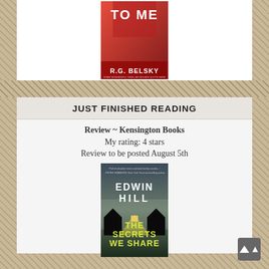[Figure (photo): Book cover for a thriller by R.G. Belsky, showing the text 'TO ME' at the top and the author's name at the bottom, red-toned cover]
JUST FINISHED READING
Review ~ Kensington Books
My rating: 4 stars
Review to be posted August 5th
[Figure (photo): Book cover for 'The Secrets We Share' by Edwin Hill, dark cover showing a house silhouette with light beams, yellow-green title text]